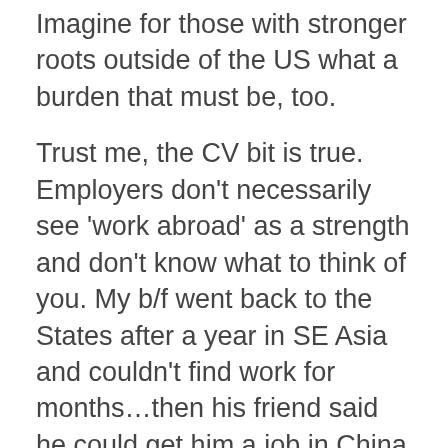Imagine for those with stronger roots outside of the US what a burden that must be, too.
Trust me, the CV bit is true. Employers don't necessarily see 'work abroad' as a strength and don't know what to think of you. My b/f went back to the States after a year in SE Asia and couldn't find work for months...then his friend said he could get him a job in China no problem. He jumped at the chance and hasn't been back ever since.
Like
LOG IN TO REPLY